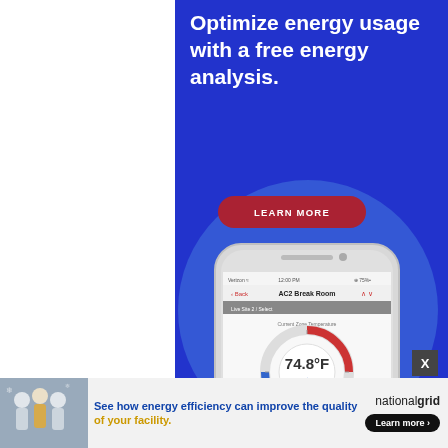[Figure (screenshot): Advertisement banner with blue background showing text 'Optimize energy usage with a free energy analysis.' with a red 'LEARN MORE' button and a smartphone displaying a thermostat app showing 74.8°F, with heat setpoints of 68° and 75°.]
[Figure (screenshot): Bottom advertisement banner for National Grid showing people walking with text 'See how energy efficiency can improve the quality of your facility.' and a 'Learn more' button alongside the nationalgrid logo.]